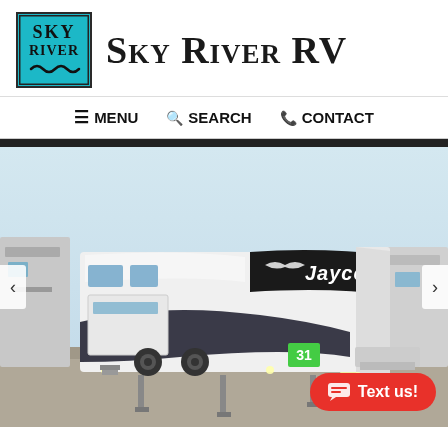[Figure (logo): Sky River RV logo: teal/cyan square with 'SKY RIVER' text in two lines and a wave graphic, bordered in dark color]
Sky River RV
≡ MENU   🔍 SEARCH   📞 CONTACT
[Figure (photo): Photograph of a white and black Jayco fifth-wheel RV trailer parked in a lot with other RVs, bright sky background, number 31 visible on the unit. Left and right navigation arrows visible on sides of image.]
Text us!